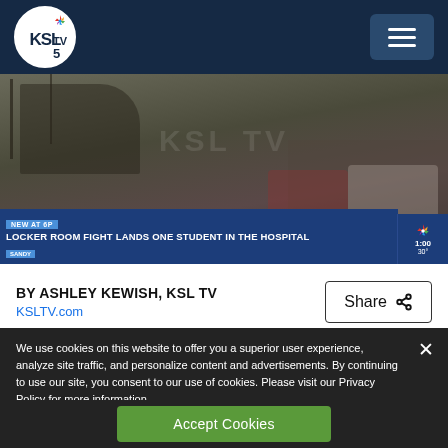KSL TV 5 - Navigation bar with logo and menu button
[Figure (screenshot): News broadcast screenshot showing headline: LOCKER ROOM FIGHT LANDS ONE STUDENT IN THE HOSPITAL. Lower third bar shows NEW AT 6P and SANDY location tags with NBC peacock logo and time display.]
BY ASHLEY KEWISH, KSL TV
KSLTV.com
We use cookies on this website to offer you a superior user experience, analyze site traffic, and personalize content and advertisements. By continuing to use our site, you consent to our use of cookies. Please visit our Privacy Policy for more information.
Accept Cookies